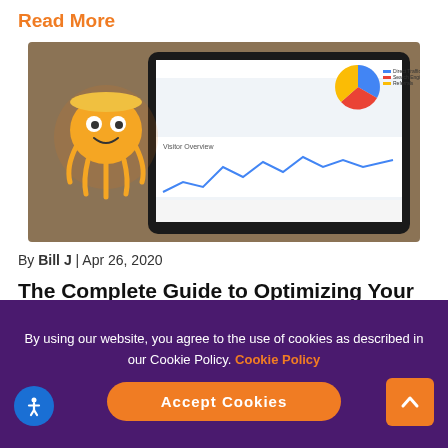Read More
[Figure (screenshot): Screenshot of a tablet displaying a Google Analytics dashboard with charts, alongside an orange cartoon octopus mascot wearing a hard hat]
By Bill J | Apr 26, 2020
The Complete Guide to Optimizing Your Website for More Monthly Leads
The entire purpose of having a website is to generate traffic, which in turn results in capturing qualified leads
By using our website, you agree to the use of cookies as described in our Cookie Policy. Cookie Policy
Accept Cookies